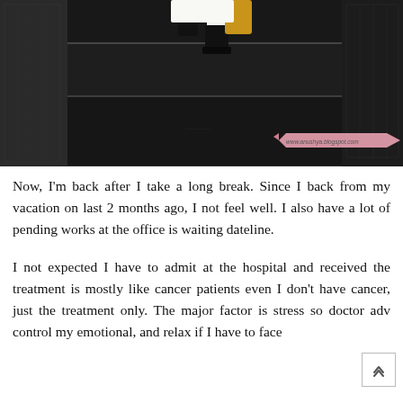[Figure (photo): A person in black boots and white clothing walking down dark black stairs, photographed from a low angle. A pink ribbon banner watermark reads 'www.anushya.blogspot.com' at the bottom right.]
Now, I'm back after I take a long break. Since I back from my vacation on last 2 months ago, I not feel well. I also have a lot of pending works at the office is waiting dateline.
I not expected I have to admit at the hospital and received the treatment is mostly like cancer patients even I don't have cancer, just the treatment only. The major factor is stress so doctor adv control my emotional, and relax if I have to face